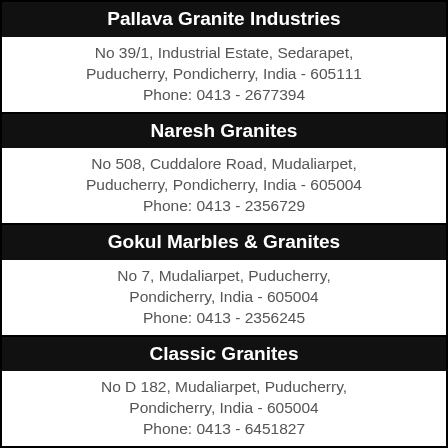Pallava Granite Industries
No 39/1, Industrial Estate, Sedarapet, Puducherry, Pondicherry, India - 605111
Phone: 0413 - 2677394
Naresh Granites
No 508, Cuddalore Road, Mudaliarpet, Puducherry, Pondicherry, India - 605004
Phone: 0413 - 2356729
Gokul Marbles & Granites
No 7, Mudaliarpet, Puducherry, Pondicherry, India - 605004
Phone: 0413 - 2356245
Classic Granites
No D 182, Mudaliarpet, Puducherry, Pondicherry, India - 605004
Phone: 0413 - 6451827
Ambuja Granites Pvt Ltd
No 40/5 A, Main Road, Thondamanatham, Puducherry, Pondicherry, India - 605502